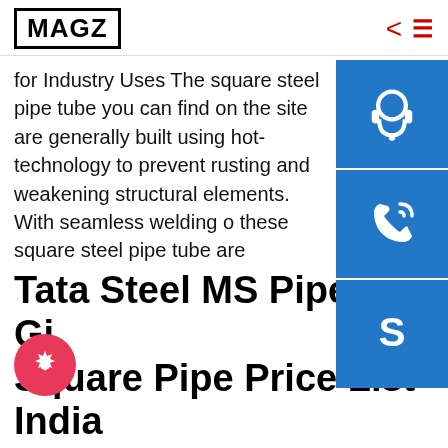MAGZ
for Industry Uses The square steel pipe tube you can find on the site are generally built using hot- technology to prevent rusting and weakening structural elements. With seamless welding o these square steel pipe tube are annealed wit nitrogen protection and are polished with utter professionalism. These products are made of materials such as carbon steel, stainless steel galvanized surface
Tata Steel MS Pipe and Gi Square Pipe Price List India